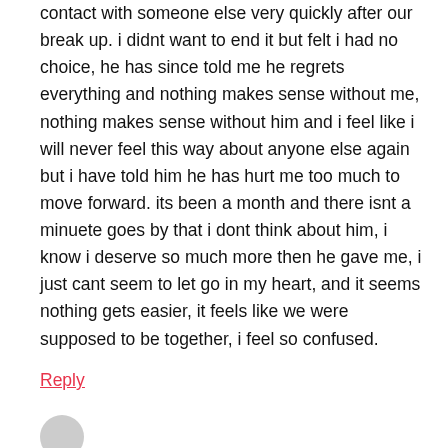contact with someone else very quickly after our break up. i didnt want to end it but felt i had no choice, he has since told me he regrets everything and nothing makes sense without me, nothing makes sense without him and i feel like i will never feel this way about anyone else again but i have told him he has hurt me too much to move forward. its been a month and there isnt a minuete goes by that i dont think about him, i know i deserve so much more then he gave me, i just cant seem to let go in my heart, and it seems nothing gets easier, it feels like we were supposed to be together, i feel so confused.
Reply